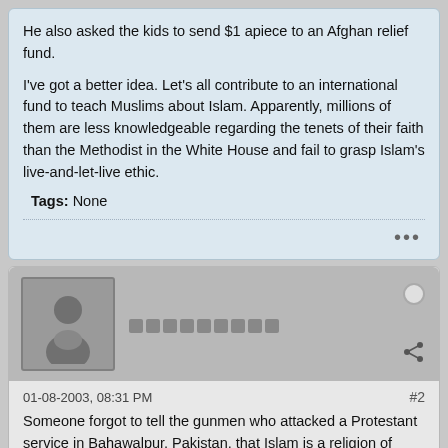He also asked the kids to send $1 apiece to an Afghan relief fund.
I've got a better idea. Let's all contribute to an international fund to teach Muslims about Islam. Apparently, millions of them are less knowledgeable regarding the tenets of their faith than the Methodist in the White House and fail to grasp Islam's live-and-let-live ethic.
Tags: None
[Figure (other): User avatar placeholder showing a silhouette of a person in gray]
01-08-2003, 08:31 PM
#2
Someone forgot to tell the gunmen who attacked a Protestant service in Bahawalpur, Pakistan, that Islam is a religion of peace.
Last week, assassins with automatic weapons invaded the church, killing 16. When mothers tried to shield children with their bodies, the killers stood over them, methodically firing until the moaning stopped.
The killings were just a distinction for Christian Americans but more of